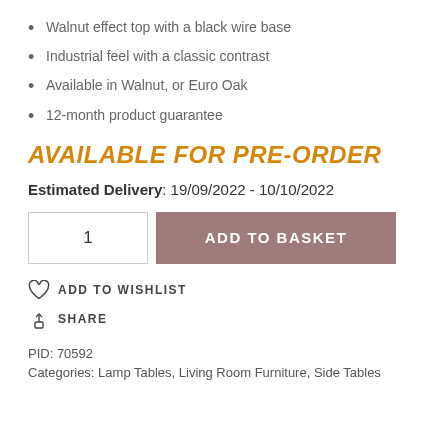Walnut effect top with a black wire base
Industrial feel with a classic contrast
Available in Walnut, or Euro Oak
12-month product guarantee
AVAILABLE FOR PRE-ORDER
Estimated Delivery: 19/09/2022 - 10/10/2022
1  ADD TO BASKET
ADD TO WISHLIST
SHARE
PID: 70592
Categories: Lamp Tables, Living Room Furniture, Side Tables